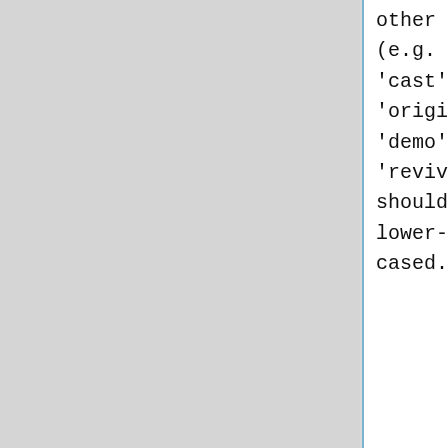other words (e.g. 'cast', 'original', 'demo', 'revival') should be lower-cased.
6. For the release type, and for interpreting guideline #5, 'compilation' should only be used for a ''true'' compilation...